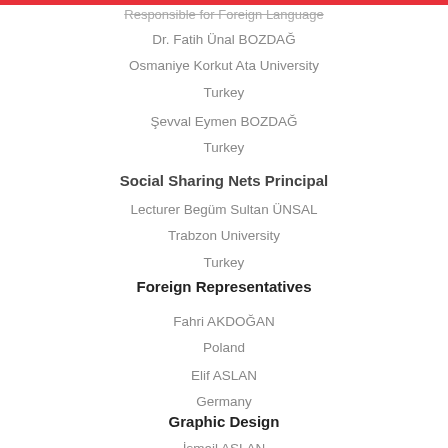Responsible for Foreign Language
Dr. Fatih Ünal BOZDAĞ
Osmaniye Korkut Ata University
Turkey
Şevval Eymen BOZDAĞ
Turkey
Social Sharing Nets Principal
Lecturer Begüm Sultan ÜNSAL
Trabzon University
Turkey
Foreign Representatives
Fahri AKDOĞAN
Poland
Elif ASLAN
Germany
Graphic Design
İsmail ASLAN